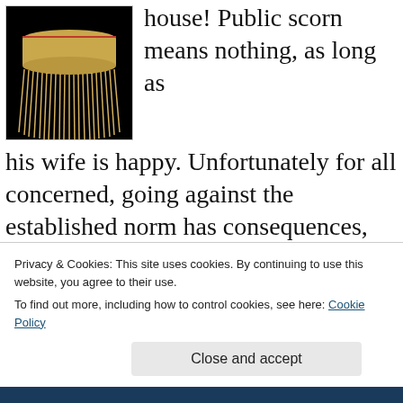[Figure (photo): A Native American fringed drum or bag with long tan fringe against a black background, partially cropped at top.]
house! Public scorn means nothing, as long as his wife is happy. Unfortunately for all concerned, going against the established norm has consequences, but throughout, Daniel Auteuil makes devotion sexy. The film is based on actual events on Saint-Pierre-et-Miquelon, the French islands off the coast of northeastern Canada. If you haven't seen it
Privacy & Cookies: This site uses cookies. By continuing to use this website, you agree to their use.
To find out more, including how to control cookies, see here: Cookie Policy
Close and accept